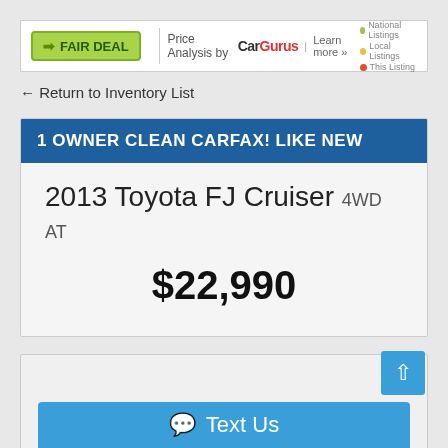[Figure (screenshot): CarGurus Fair Deal banner with price analysis badge and map legend showing National Listings, Local Listings, This Listing]
← Return to Inventory List
1 OWNER CLEAN CARFAX! LIKE NEW
2013 Toyota FJ Cruiser 4WD AT
$22,990
[Figure (photo): Vehicle photo area (blank/loading)]
💬 Text Us